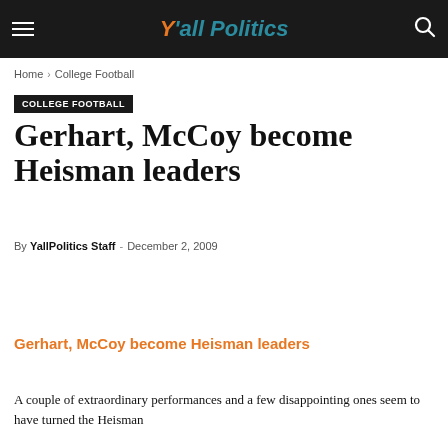Yall Politics
Home › College Football
COLLEGE FOOTBALL
Gerhart, McCoy become Heisman leaders
By YallPolitics Staff - December 2, 2009
Gerhart, McCoy become Heisman leaders
A couple of extraordinary performances and a few disappointing ones seem to have turned the Heisman